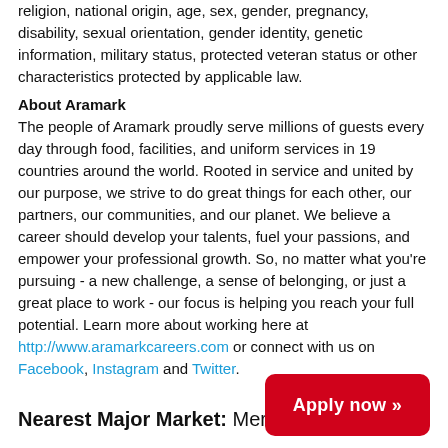religion, national origin, age, sex, gender, pregnancy, disability, sexual orientation, gender identity, genetic information, military status, protected veteran status or other characteristics protected by applicable law.
About Aramark
The people of Aramark proudly serve millions of guests every day through food, facilities, and uniform services in 19 countries around the world. Rooted in service and united by our purpose, we strive to do great things for each other, our partners, our communities, and our planet. We believe a career should develop your talents, fuel your passions, and empower your professional growth. So, no matter what you're pursuing - a new challenge, a sense of belonging, or just a great place to work - our focus is helping you reach your full potential. Learn more about working here at http://www.aramarkcareers.com or connect with us on Facebook, Instagram and Twitter.
Nearest Major Market: Merced